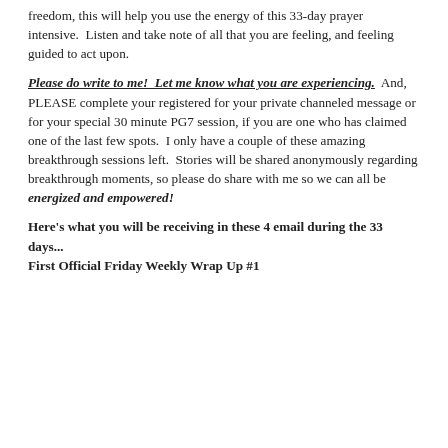freedom, this will help you use the energy of this 33-day prayer intensive.  Listen and take note of all that you are feeling, and feeling guided to act upon.
Please do write to me!  Let me know what you are experiencing.  And, PLEASE complete your registered for your private channeled message or for your special 30 minute PG7 session, if you are one who has claimed one of the last few spots.  I only have a couple of these amazing breakthrough sessions left.  Stories will be shared anonymously regarding breakthrough moments, so please do share with me so we can all be energized and empowered!
Here's what you will be receiving in these 4 email during the 33 days...
First Official Friday Weekly Wrap Up #1